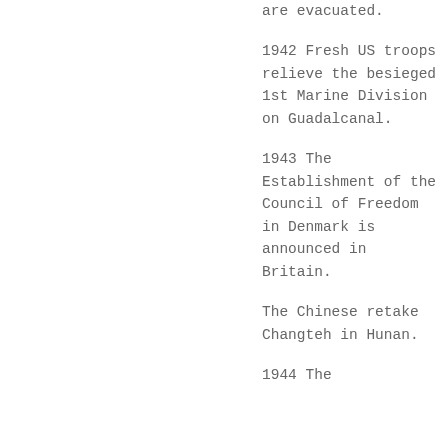are evacuated.
1942 Fresh US troops relieve the besieged 1st Marine Division on Guadalcanal.
1943 The Establishment of the Council of Freedom in Denmark is announced in Britain.
The Chinese retake Changteh in Hunan.
1944 The